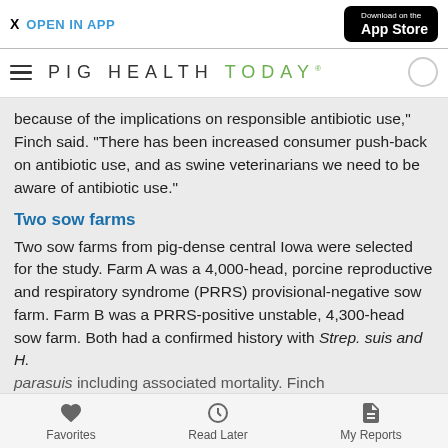X  OPEN IN APP | Download on the App Store
PIG HEALTH TODAY
because of the implications on responsible antibiotic use," Finch said. "There has been increased consumer push-back on antibiotic use, and as swine veterinarians we need to be aware of antibiotic use."
Two sow farms
Two sow farms from pig-dense central Iowa were selected for the study. Farm A was a 4,000-head, porcine reproductive and respiratory syndrome (PRRS) provisional-negative sow farm. Farm B was a PRRS-positive unstable, 4,300-head sow farm. Both had a confirmed history with Strep. suis and H. parasuis including associated mortality. Finch
Favorites    Read Later    My Reports